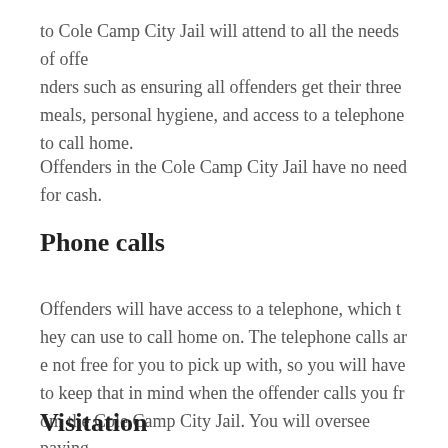to Cole Camp City Jail will attend to all the needs of offenders such as ensuring all offenders get their three meals, personal hygiene, and access to a telephone to call home.
Offenders in the Cole Camp City Jail have no need for cash.
Phone calls
Offenders will have access to a telephone, which they can use to call home on. The telephone calls are not free for you to pick up with, so you will have to keep that in mind when the offender calls you from the Cole Camp City Jail. You will oversee paying for those fees.
Visitation